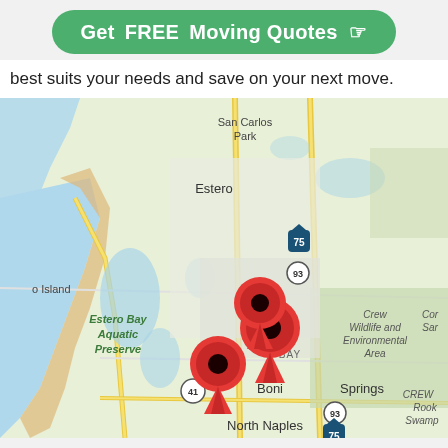[Figure (other): Green rounded button with text 'Get FREE Moving Quotes' and pointing hand icon]
best suits your needs and save on your next move.
[Figure (map): Google Maps view showing Bonita Springs, FL area with Estero, San Carlos Park, Estero Bay Aquatic Preserve, Crew Wildlife and Environmental Area, CREW Rookery Swamp, North Naples. Three red map pin markers placed near Bonita Springs/Bonita Bay area. Roads including I-75, US-41, and route 93 visible.]